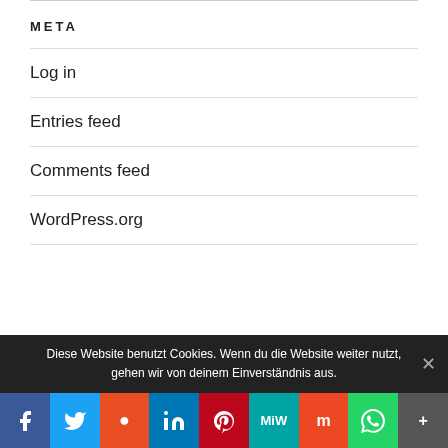META
Log in
Entries feed
Comments feed
WordPress.org
Privacy & Cookies: This site uses cookies. By continuing to use this website, you agree to their use.
To find out more, including how to control cookies, see here: Cookie
Diese Website benutzt Cookies. Wenn du die Website weiter nutzt, gehen wir von deinem Einverständnis aus.